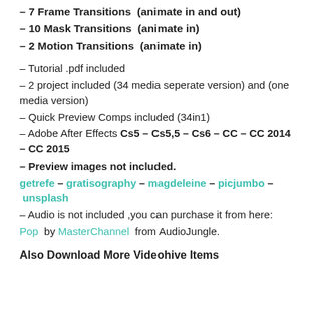– 7 Frame Transitions  (animate in and out)
– 10 Mask Transitions  (animate in)
– 2 Motion Transitions  (animate in)
– Tutorial .pdf included
– 2 project included (34 media seperate version) and (one media version)
– Quick Preview Comps included (34in1)
– Adobe After Effects Cs5 – Cs5,5 – Cs6 – CC – CC 2014 – CC 2015
– Preview images not included.
getrefe – gratisography – magdeleine – picjumbo – unsplash
– Audio is not included ,you can purchase it from here:
Pop  by MasterChannel  from AudioJungle.
Also Download More Videohive Items